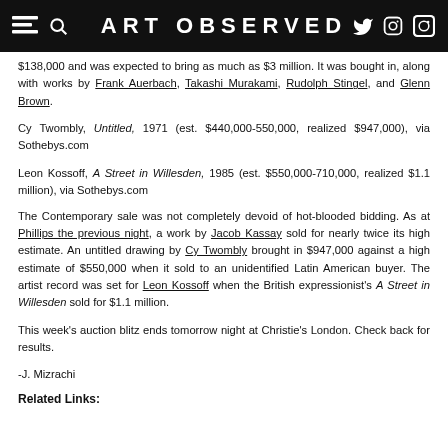ART OBSERVED
$138,000 and was expected to bring as much as $3 million. It was bought in, along with works by Frank Auerbach, Takashi Murakami, Rudolph Stingel, and Glenn Brown.
Cy Twombly, Untitled, 1971 (est. $440,000-550,000, realized $947,000), via Sothebys.com
Leon Kossoff, A Street in Willesden, 1985 (est. $550,000-710,000, realized $1.1 million), via Sothebys.com
The Contemporary sale was not completely devoid of hot-blooded bidding. As at Phillips the previous night, a work by Jacob Kassay sold for nearly twice its high estimate. An untitled drawing by Cy Twombly brought in $947,000 against a high estimate of $550,000 when it sold to an unidentified Latin American buyer. The artist record was set for Leon Kossoff when the British expressionist's A Street in Willesden sold for $1.1 million.
This week's auction blitz ends tomorrow night at Christie's London. Check back for results.
-J. Mizrachi
Related Links: